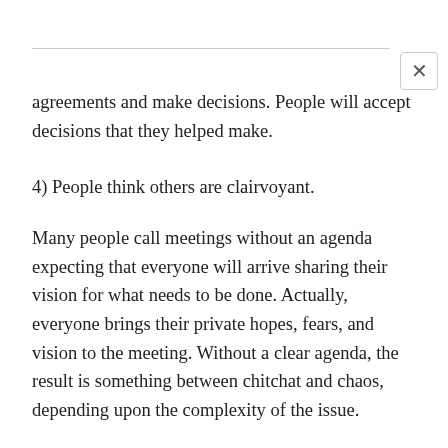agreements and make decisions. People will accept decisions that they helped make.
4) People think others are clairvoyant.
Many people call meetings without an agenda expecting that everyone will arrive sharing their vision for what needs to be done. Actually, everyone brings their private hopes, fears, and vision to the meeting. Without a clear agenda, the result is something between chitchat and chaos, depending upon the complexity of the issue.
Note: A vague agenda, such as a list of topics, is almost as useless as no agenda.